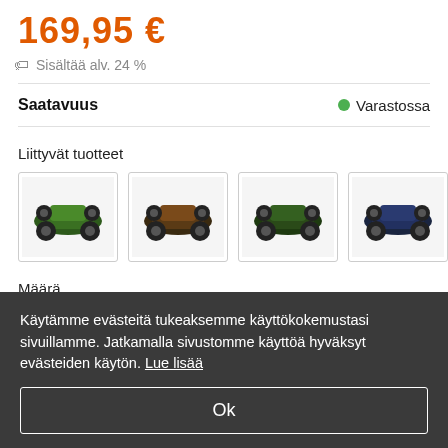169,95 €
Sisältää alv. 24 %
Saatavuus
Varastossa
Liittyvät tuotteet
[Figure (photo): Four related RC car product thumbnails shown in small bordered boxes]
Määrä
1
Käytämme evästeitä tukeaksemme käyttökokemustasi sivuillamme. Jatkamalla sivustomme käyttöä hyväksyt evästeiden käytön. Lue lisää
Ok